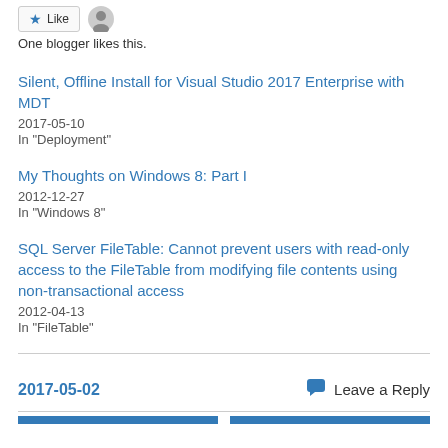[Figure (other): Like button with star icon and user avatar]
One blogger likes this.
Silent, Offline Install for Visual Studio 2017 Enterprise with MDT
2017-05-10
In "Deployment"
My Thoughts on Windows 8: Part I
2012-12-27
In "Windows 8"
SQL Server FileTable: Cannot prevent users with read-only access to the FileTable from modifying file contents using non-transactional access
2012-04-13
In "FileTable"
2017-05-02
Leave a Reply